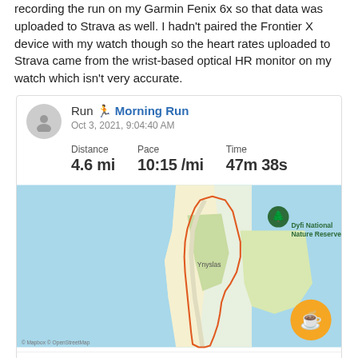recording the run on my Garmin Fenix 6x so that data was uploaded to Strava as well. I hadn't paired the Frontier X device with my watch though so the heart rates uploaded to Strava came from the wrist-based optical HR monitor on my watch which isn't very accurate.
[Figure (screenshot): Strava activity card showing a Morning Run on Oct 3, 2021, 9:04:40 AM. Distance: 4.6 mi, Pace: 10:15 /mi, Time: 47m 38s. Map shows a running route around Ynyslas near Dyfi National Nature Reserve.]